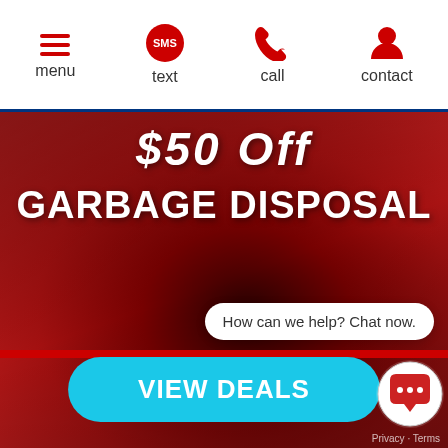menu | text | call | contact
[Figure (screenshot): Mobile website hero section with red overlay showing plumbing tools background. Text '$50 off GARBAGE DISPOSAL' visible. Blue 'VIEW DEALS' button at bottom. Chat bubble saying 'How can we help? Chat now.']
How can we help? Chat now.
VIEW DEALS
Privacy · Terms